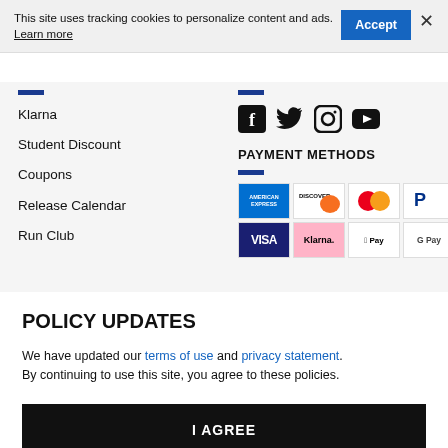This site uses tracking cookies to personalize content and ads. Learn more
Klarna
Student Discount
Coupons
Release Calendar
Run Club
[Figure (logo): Social media icons: Facebook, Twitter, Instagram, YouTube]
PAYMENT METHODS
[Figure (infographic): Payment method logos: American Express, Discover, Mastercard, PayPal, Visa, Klarna, Apple Pay, Google Pay]
POLICY UPDATES
We have updated our terms of use and privacy statement. By continuing to use this site, you agree to these policies.
I AGREE